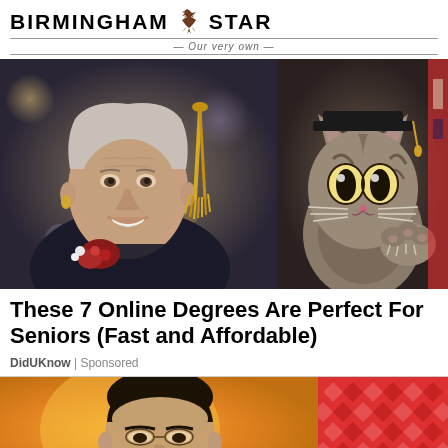BIRMINGHAM STAR — Our very own
[Figure (photo): Elderly woman in graduation attire smiling, with a cat wearing a graduation cap on the right side, against a blurred bokeh background]
These 7 Online Degrees Are Perfect For Seniors (Fast and Affordable)
DidUKnow | Sponsored
[Figure (photo): Close-up of an Asian man's face on yellow/orange background, partial view of colorful fabric pattern on the right]